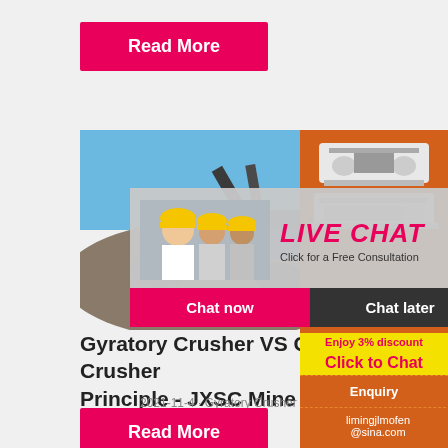Read More
[Figure (photo): Workers in yellow hard hats at a mining/construction site with heavy machinery in background]
[Figure (infographic): Live chat overlay with workers in yellow hard hats, LIVE CHAT title, Click for a Free Consultation text, Chat now and Chat later buttons]
[Figure (infographic): Orange sidebar with mining machinery images, Enjoy 3% discount, Click to Chat, Enquiry, and limingjlmofen@sina.com]
Gyratory Crusher VS Cone Crusher Principle - JXSC Mine
2021-11-4 · Gyratory Crusher VS Cone
Read More